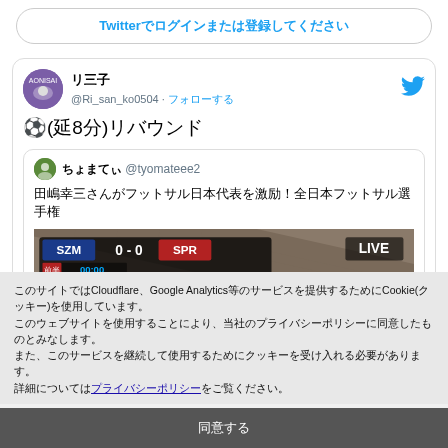Twitterでログインまたは登録してください
リ三子 @Ri_san_ko0504 · フォローする
⚽(延8分)リバウンド
ちょまてぃ @tyomateee2
田嶋幸三さんがフットサル日本代表を激励！全日本フットサル選手権
[Figure (screenshot): Live football score overlay showing SZM 0-0 SPR, 前半 00:00, LIVE label]
このサイトではCloudflare、Google Analytics等のサービスを提供するためにCookie(クッキー)を使用しています。このウェブサイトを使用することにより、当社のプライバシーポリシーに同意したものとみなします。また、このサービスを継続して使用するためにクッキーを受け入れる必要があります。詳細についてはプライバシーポリシーをご覧ください。
同意する